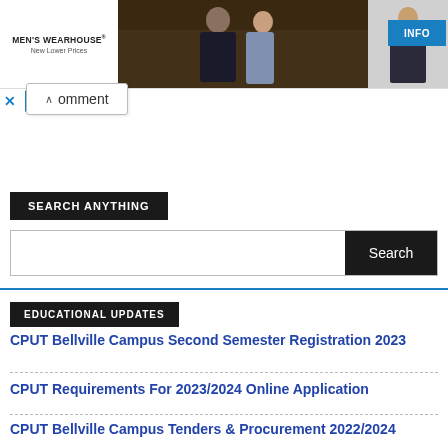[Figure (photo): Men's Wearhouse advertisement banner showing a couple in formal wear and a child in a suit, with INFO button]
omment
SEARCH ANYTHING
Search
EDUCATIONAL UPDATES
CPUT Bellville Campus Second Semester Registration 2023
CPUT Requirements For 2023/2024 Online Application
CPUT Bellville Campus Tenders & Procurement 2022/2024